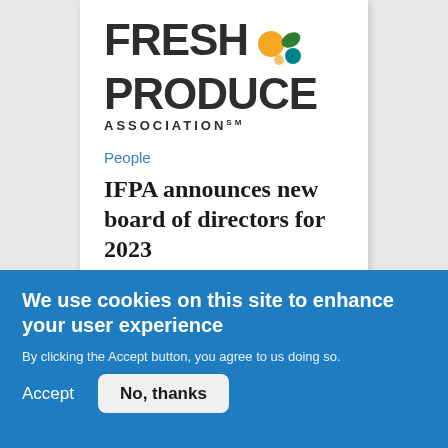[Figure (logo): Fresh Produce Association logo with decorative fruit/leaf icons, bold dark text reading FRESH PRODUCE ASSOCIATION(SM)]
People
IFPA announces new board of directors for 2023
August 25, 2022
We use cookies on this site to enhance your user experience
By clicking the Accept button, you agree to us doing so.
Accept
No, thanks